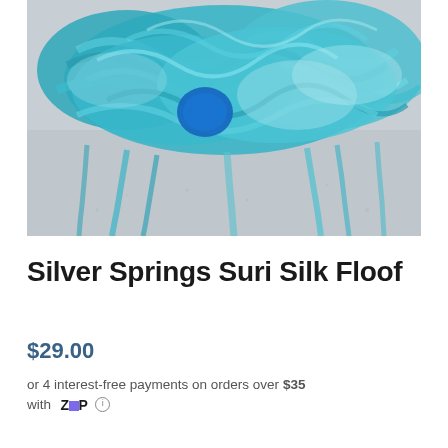[Figure (photo): Photo of teal/turquoise skeins of alpaca or silk yarn bunched together on a light grey surface, showing various shades of blue and teal with some bright blue accents.]
Silver Springs Suri Silk Floof
$29.00
or 4 interest-free payments on orders over $35 with Zip ℹ